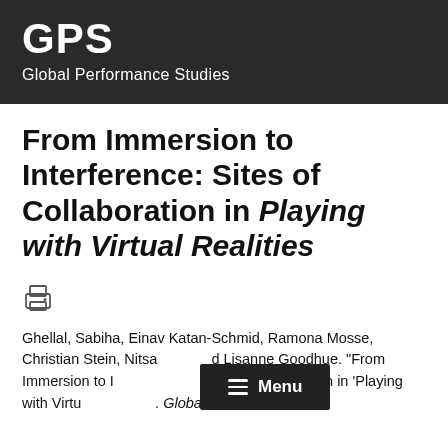GPS
Global Performance Studies
From Immersion to Interference: Sites of Collaboration in Playing with Virtual Realities
[Figure (other): Printer icon]
Ghellal, Sabiha, Einav Katan-Schmid, Ramona Mosse, Christian Stein, Nitsa [Mevalio?] and Lisanne Goodhue. "From Immersion to I[nterference: Si]tes of Collaboration in 'Playing with Virtu[al Realities']. [Gl]obal Performance